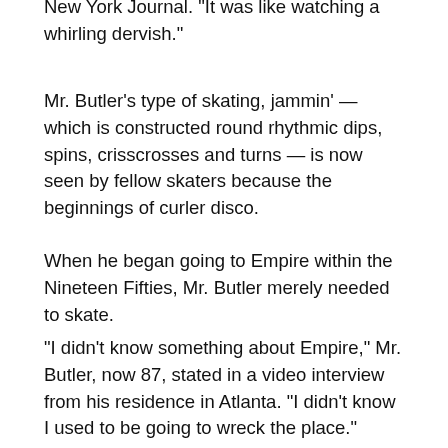New York Journal. "It was like watching a whirling dervish."
Mr. Butler’s type of skating, jammin’ — which is constructed round rhythmic dips, spins, crisscrosses and turns — is now seen by fellow skaters because the beginnings of curler disco.
When he began going to Empire within the Nineteen Fifties, Mr. Butler merely needed to skate.
“I didn’t know something about Empire,” Mr. Butler, now 87, stated in a video interview from his residence in Atlanta. “I didn’t know I used to be going to wreck the place.”
From the start, Mr. Butler pushed for brand new sounds. Historically, rinks employed stay musicians to play rhythmic music on organs, usually bought secondhand from church buildings and theaters. Or they’d DJs who spun music with